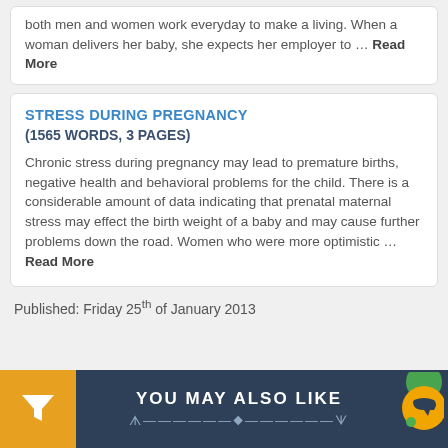both men and women work everyday to make a living. When a woman delivers her baby, she expects her employer to … Read More
STRESS DURING PREGNANCY
(1565 WORDS, 3 PAGES)
Chronic stress during pregnancy may lead to premature births, negative health and behavioral problems for the child. There is a considerable amount of data indicating that prenatal maternal stress may effect the birth weight of a baby and may cause further problems down the road. Women who were more optimistic … Read More
Published: Friday 25th of January 2013
YOU MAY ALSO LIKE